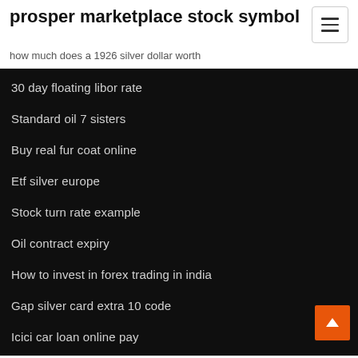prosper marketplace stock symbol
how much does a 1926 silver dollar worth
30 day floating libor rate
Standard oil 7 sisters
Buy real fur coat online
Etf silver europe
Stock turn rate example
Oil contract expiry
How to invest in forex trading in india
Gap silver card extra 10 code
Icici car loan online pay